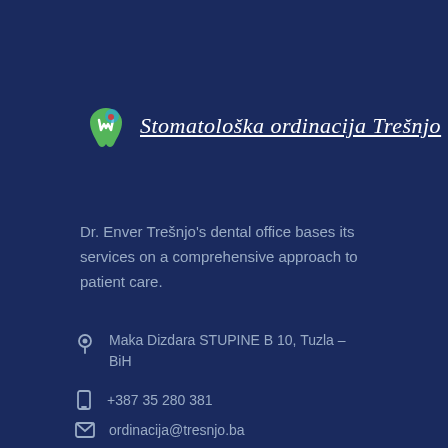[Figure (logo): Stomatološka ordinacija Trešnjo dental clinic logo with tooth icon in green/blue and cursive text]
Dr. Enver Trešnjo's dental office bases its services on a comprehensive approach to patient care.
Maka Dizdara STUPINE B 10, Tuzla – BiH
+387 35 280 381
ordinacija@tresnjo.ba
Quick menu
Our team